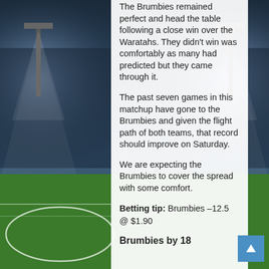[Figure (photo): Stadium background photo with floodlights and green pitch with white circle markings, blue sky with dramatic lighting]
The Brumbies remained perfect and head the table following a close win over the Waratahs. They didn't win was comfortably as many had predicted but they came through it.
The past seven games in this matchup have gone to the Brumbies and given the flight path of both teams, that record should improve on Saturday.
We are expecting the Brumbies to cover the spread with some comfort.
Betting tip: Brumbies –12.5 @ $1.90
Brumbies by 18